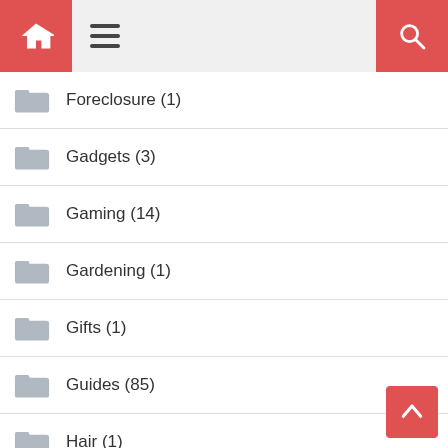Navigation bar with home, hamburger menu, and search icons
Foreclosure (1)
Gadgets (3)
Gaming (14)
Gardening (1)
Gifts (1)
Guides (85)
Hair (1)
Handbags (1)
Headphones (1)
Health (25)